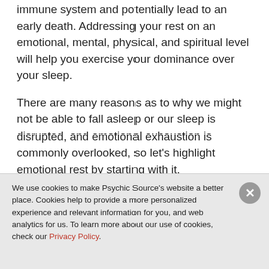immune system and potentially lead to an early death. Addressing your rest on an emotional, mental, physical, and spiritual level will help you exercise your dominance over your sleep.
There are many reasons as to why we might not be able to fall asleep or our sleep is disrupted, and emotional exhaustion is commonly overlooked, so let's highlight emotional rest by starting with it.
Emotional Rest
I recently learned about 'meta-emotions'. They are the emotive energy surrounding what we feel and think about our emotions. Simply put, they are
We use cookies to make Psychic Source's website a better place. Cookies help to provide a more personalized experience and relevant information for you, and web analytics for us. To learn more about our use of cookies, check our Privacy Policy.